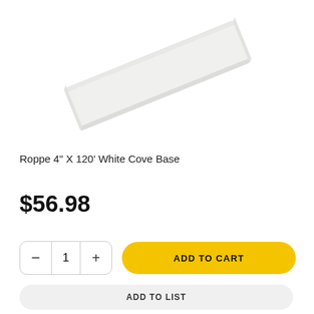[Figure (photo): A white flat cove base molding strip shown at an angle on a white background]
Roppe 4" X 120' White Cove Base
$56.98
- 1 + ADD TO CART
ADD TO LIST